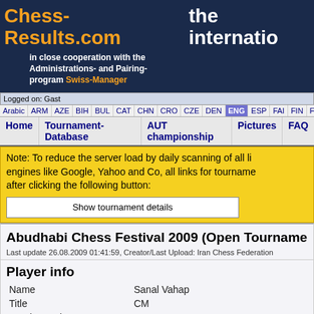Chess-Results.com  the internatio
in close cooperation with the Administrations- and Pairing-program Swiss-Manager
Logged on: Gast
Arabic | ARM | AZE | BIH | BUL | CAT | CHN | CRO | CZE | DEN | ENG | ESP | FAI | FIN | FRA | GER | GRE | INA
Home | Tournament-Database | AUT championship | Pictures | FAQ
Note: To reduce the server load by daily scanning of all li... engines like Google, Yahoo and Co, all links for tourname... after clicking the following button:
Show tournament details
Abudhabi Chess Festival 2009 (Open Tourname...
Last update 26.08.2009 01:41:59, Creator/Last Upload: Iran Chess Federation
Player info
| Field | Value |
| --- | --- |
| Name | Sanal Vahap |
| Title | CM |
| Starting rank | 65 |
| Rating | 1976 |
| Rating national | 0 |
| Rating international | 1976 |